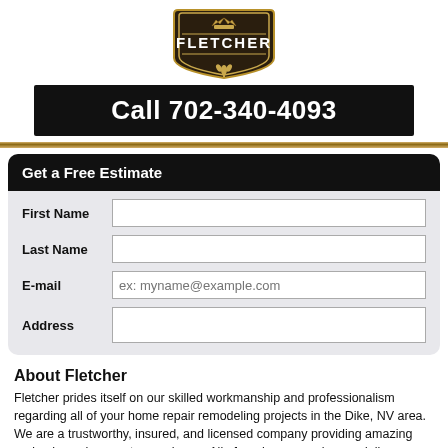[Figure (logo): Fletcher logo badge with crown and decorative border]
Call 702-340-4093
Get a Free Estimate
First Name
Last Name
E-mail
Address
About Fletcher
Fletcher prides itself on our skilled workmanship and professionalism regarding all of your home repair remodeling projects in the Dike, NV area. We are a trustworthy, insured, and licensed company providing amazing and unique changes to your home. All of our home repair remodeling projects in the Dike, NV area are supervised and maintained with the highest of standards. We make sure to provide accurate timelines from start to finish. For all of your home repair remodeling needs in the Dike, NV area, give Fletcher a call at 702-340-4093. We look forward to